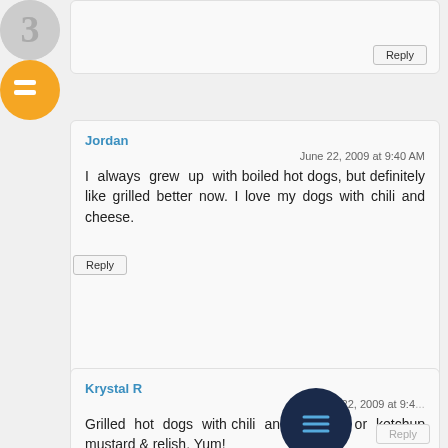[Figure (screenshot): Partial top comment block with Reply button]
[Figure (illustration): Gray avatar circle for Jordan]
Jordan
June 22, 2009 at 9:40 AM
I always grew up with boiled hot dogs, but definitely like grilled better now. I love my dogs with chili and cheese.
[Figure (illustration): Orange Blogger avatar circle for Krystal R]
Krystal R
June 22, 2009 at 9:4…
Grilled hot dogs with chili and cheese, or ketchup mustard & relish. Yum!
[Figure (illustration): Dark navy circle with three horizontal lines (menu/overlay button)]